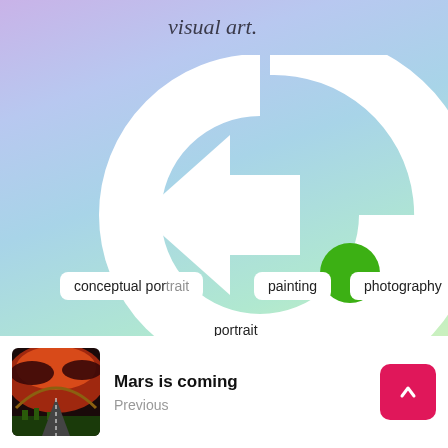visual art.
[Figure (logo): Large white stylized arrow/loop logo on gradient background with green dot accent]
canFeelings
CampoArtHouse
#h
art
canvas
conceptual portrait
painting
photography
portrait
Mars is coming
Previous